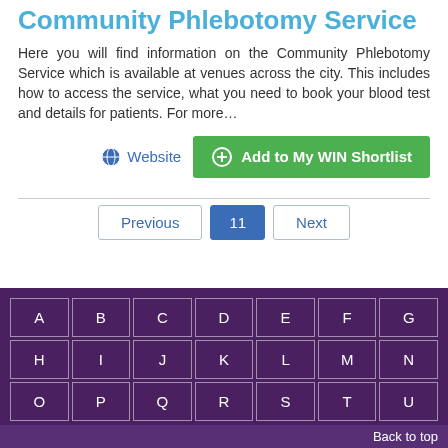Community Phlebotomy Service
Here you will find information on the Community Phlebotomy Service which is available at venues across the city. This includes how to access the service, what you need to book your blood test and details for patients.  For more…
Website | Add to My WIN Shortlist
Previous | 11 | Next
[Figure (other): Alphabet navigation grid with letters A through U arranged in 3 rows of 7 on a dark purple background, with a Back to top button]
Back to top